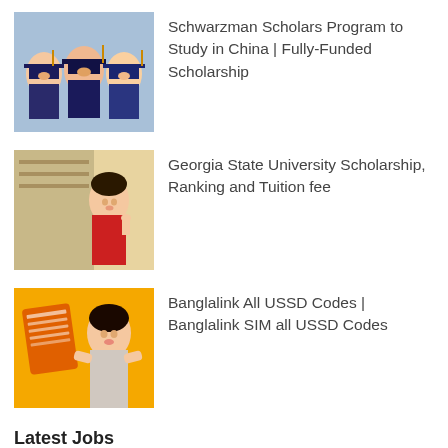[Figure (photo): Graduation photo with students in caps and gowns smiling]
Schwarzman Scholars Program to Study in China | Fully-Funded Scholarship
[Figure (photo): Female student in red top studying or reading]
Georgia State University Scholarship, Ranking and Tuition fee
[Figure (photo): Woman on yellow background with phone or SIM card]
Banglalink All USSD Codes | Banglalink SIM all USSD Codes
Latest Jobs
Trust Bank Career Opportunity by 12 June 2021 | Apply Online
Anywhere • Trust Bank Ltd • Full Time